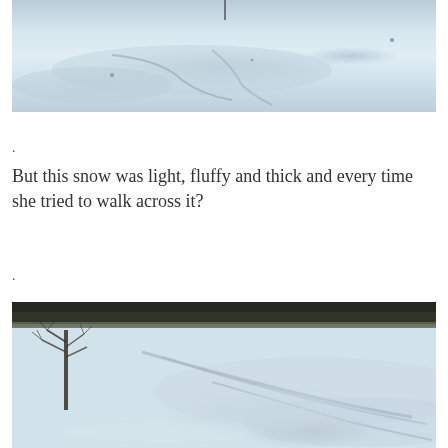[Figure (photo): A snow-covered field or path viewed from above or at an angle, showing light blue-white snow with tracks or indentations in it.]
.
But this snow was light, fluffy and thick and every time she tried to walk across it?
.
[Figure (photo): A wide snowy field with a bare deciduous tree on the left side, dark forest treeline in the background, and curved tracks or trails in the snow across the open field.]